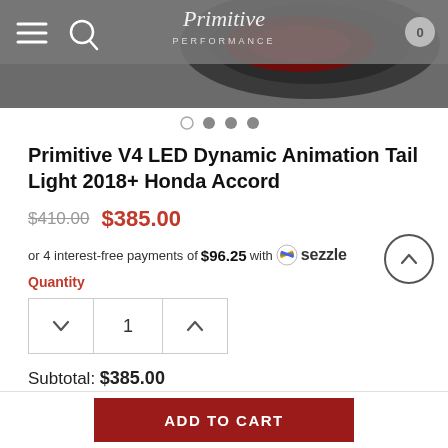[Figure (screenshot): Website header navigation bar with hamburger menu, search icon, logo (Primitive Performance), and cart icon. Product image of a red LED tail light partially visible.]
[Figure (other): Image carousel navigation dots — 4 dots, second dot active/filled]
Primitive V4 LED Dynamic Animation Tail Light 2018+ Honda Accord
$410.00  $385.00
or 4 interest-free payments of $96.25 with Sezzle
Quantity
1
Subtotal: $385.00
ADD TO CART
ADD TO CART